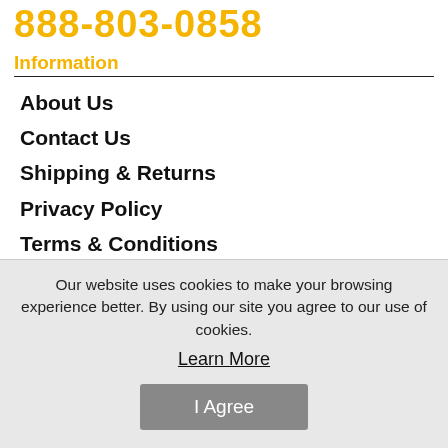888-803-0858
Information
About Us
Contact Us
Shipping & Returns
Privacy Policy
Terms & Conditions
Purchasing A Firearm
Our website uses cookies to make your browsing experience better. By using our site you agree to our use of cookies.
Learn More
I Agree